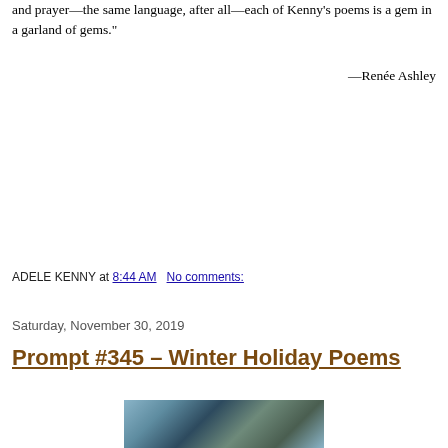and prayer—the same language, after all—each of Kenny's poems is a gem in a garland of gems."
—Renée Ashley
ADELE KENNY at 8:44 AM   No comments:
Saturday, November 30, 2019
Prompt #345 – Winter Holiday Poems
[Figure (photo): A winter scene with snow-covered branches and trees in black and white/blue tones]